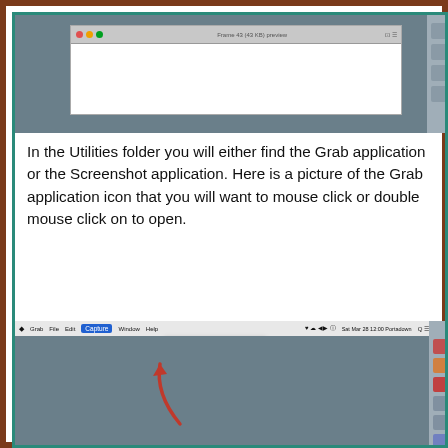[Figure (screenshot): Screenshot of a Mac window with gray background and toolbar at top, shown partially]
In the Utilities folder you will either find the Grab application or the Screenshot application. Here is a picture of the Grab application icon that you will want to mouse click or double mouse click on to open.
[Figure (screenshot): Screenshot of Mac desktop showing Grab application menu bar with Capture menu open, displaying options: Selection, Window, Screen, Timed Screen. A red arrow points to the Capture menu. Right side shows macOS dock icons.]
In the Grab application menu across the top of the